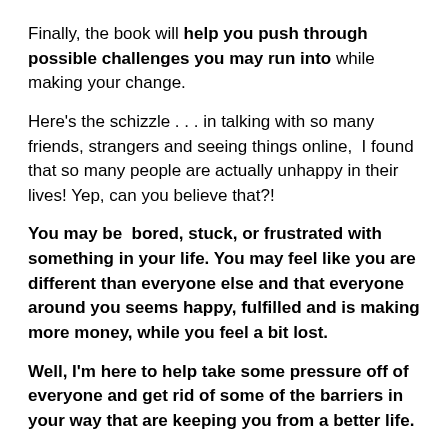Finally, the book will help you push through possible challenges you may run into while making your change.
Here's the schizzle . . . in talking with so many friends, strangers and seeing things online,  I found that so many people are actually unhappy in their lives! Yep, can you believe that?!
You may be  bored, stuck, or frustrated with something in your life. You may feel like you are different than everyone else and that everyone around you seems happy, fulfilled and is making more money, while you feel a bit lost.
Well, I'm here to help take some pressure off of everyone and get rid of some of the barriers in your way that are keeping you from a better life.